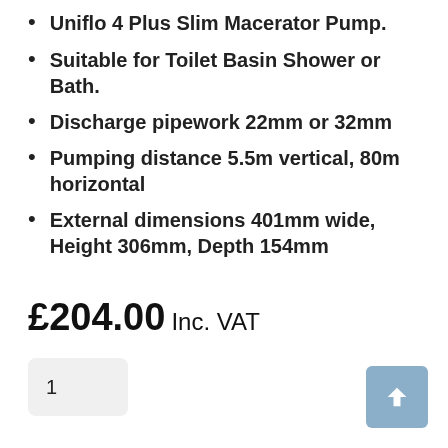Uniflo 4 Plus Slim Macerator Pump.
Suitable for Toilet Basin Shower or Bath.
Discharge pipework 22mm or 32mm
Pumping distance 5.5m vertical, 80m horizontal
External dimensions 401mm wide, Height 306mm, Depth 154mm
£204.00 Inc. VAT
1